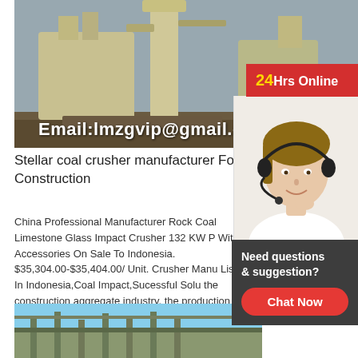[Figure (photo): Industrial coal crusher / milling machine inside a factory warehouse, with email address overlay: Email:lmzgvip@gmail.co]
Email:lmzgvip@gmail.co
[Figure (photo): Customer service agent with headset smiling, with '24Hrs Online' badge in red and yellow text, and 'Need questions & suggestion? Chat Now' chat box]
Stellar coal crusher manufacturer For Construction
China Professional Manufacturer Rock Coal Limestone Glass Impact Crusher 132 KW P With Accessories On Sale To Indonesia. $35,304.00-$35,404.00/ Unit. Crusher Manu List In Indonesia,Coal Impact,Sucessful Solu the construction aggregate industry, the production plans of the same type of investors have comparable and reference value. Your future plan design, equipment selection, construction and construction, operation management, return on investment, etc.
[Figure (photo): Partial view of a building structure against blue sky]